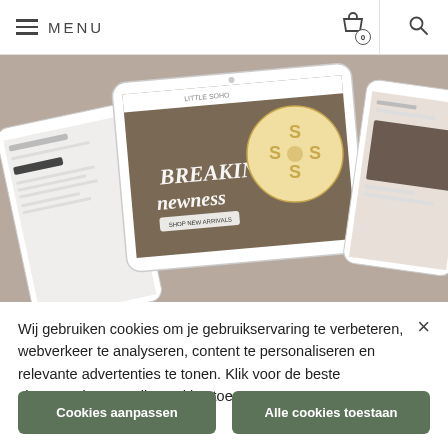MENU
[Figure (screenshot): Screenshot of a website mockup on tablet and phone devices showing a fashion/clothing e-commerce site with text 'BREAKING newness' and product images.]
Wij gebruiken cookies om je gebruikservaring te verbeteren, webverkeer te analyseren, content te personaliseren en relevante advertenties te tonen. Klik voor de beste shopervaring op "Alle cookies toestaan".
Cookies aanpassen
Alle cookies toestaan